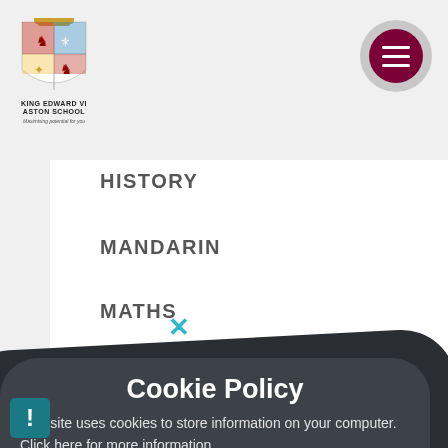[Figure (logo): King Edward VI Aston School crest/shield logo with text]
HISTORY
MANDARIN
MATHS
MUSIC
PE (ACADEMIC)
SCI / A LEV
[Figure (screenshot): Cookie Policy dialog box overlay on school website navigation page. Title: Cookie Policy. Body text: This site uses cookies to store information on your computer. Click here for more information. Two buttons: Allow Cookies and Deny Cookies. A blue X close button and a dark warning icon are also visible.]
Cookie Policy
This site uses cookies to store information on your computer. Click here for more information
POLITICS